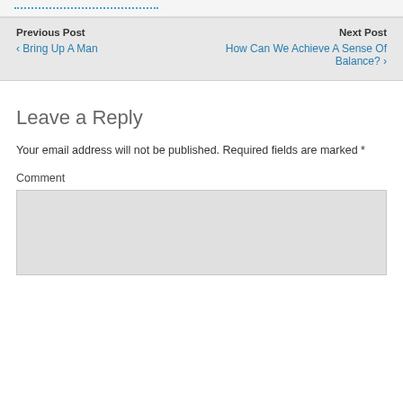Previous Post
‹ Bring Up A Man
Next Post
How Can We Achieve A Sense Of Balance? ›
Leave a Reply
Your email address will not be published. Required fields are marked *
Comment